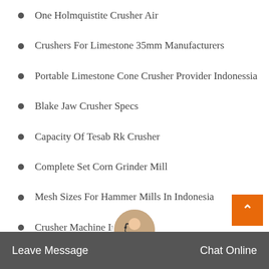One Holmquistite Crusher Air
Crushers For Limestone 35mm Manufacturers
Portable Limestone Cone Crusher Provider Indonessia
Blake Jaw Crusher Specs
Capacity Of Tesab Rk Crusher
Complete Set Corn Grinder Mill
Mesh Sizes For Hammer Mills In Indonesia
Crusher Machine In Morocco
Tel And Crush Plant
Leave Message   Chat Online